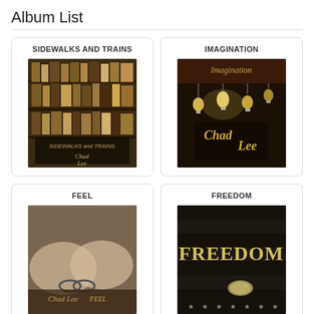Album List
[Figure (illustration): Album art for SIDEWALKS AND TRAINS by Chad Lee – dark sepia toned image of bookshelves with text overlay]
SIDEWALKS AND TRAINS
[Figure (illustration): Album art for IMAGINATION by Chad Lee – dark background with hanging light bulbs and Chad Lee logo]
IMAGINATION
[Figure (illustration): Album art for FEEL by Chad Lee – close up of hands with text Chad Lee FEEL]
FEEL
[Figure (illustration): Album art for FREEDOM – dark background with large FREEDOM text and stars]
FREEDOM
Schedule